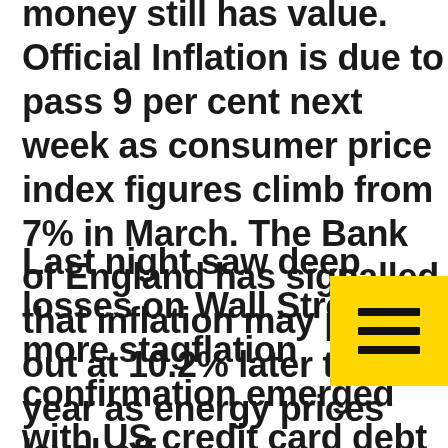money still has value. Official Inflation is due to pass 9 per cent next week as consumer price index figures climb from 7% in March. The Bank of England has signalled that inflation may peak out at 10.2% later this year as energy prices level off.
Last night saw deep losses on Wall Street as more stagflation confirmation emerged with US credit card debt surging, consumer spending falling (Target & Walmart shares down 29% and 17% over the last 2 days!) and both home builder and home buyer sentiment tanking all against this backdrop of high inflation. Just as we saw in Australia
[Figure (other): Yellow hamburger menu button icon (three horizontal lines) on a yellow/gold square background, positioned in the lower right area of the page]